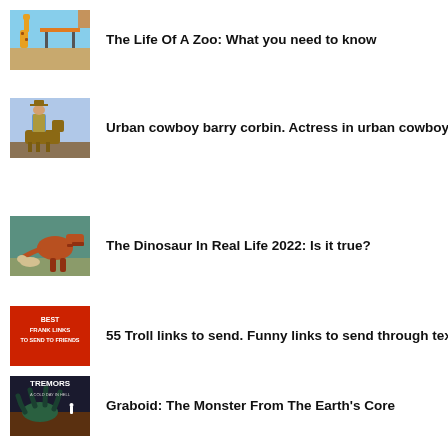The Life Of A Zoo: What you need to know
Urban cowboy barry corbin. Actress in urban cowboy
The Dinosaur In Real Life 2022: Is it true?
55 Troll links to send. Funny links to send through text
Graboid: The Monster From The Earth's Core